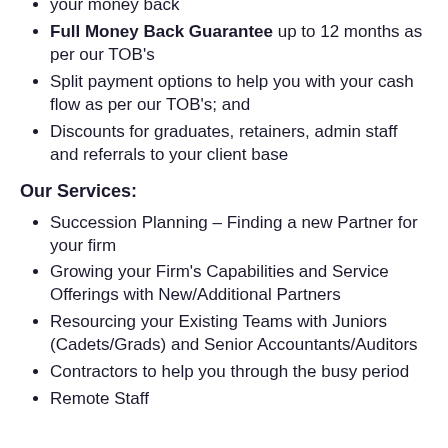your money back
Full Money Back Guarantee up to 12 months as per our TOB's
Split payment options to help you with your cash flow as per our TOB's; and
Discounts for graduates, retainers, admin staff and referrals to your client base
Our Services:
Succession Planning – Finding a new Partner for your firm
Growing your Firm's Capabilities and Service Offerings with New/Additional Partners
Resourcing your Existing Teams with Juniors (Cadets/Grads) and Senior Accountants/Auditors
Contractors to help you through the busy period
Remote Staff